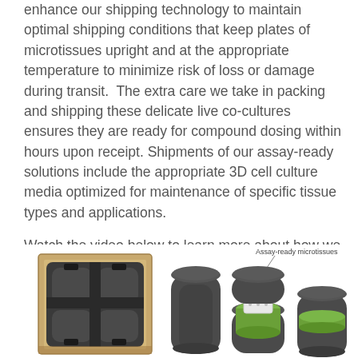enhance our shipping technology to maintain optimal shipping conditions that keep plates of microtissues upright and at the appropriate temperature to minimize risk of loss or damage during transit. The extra care we take in packing and shipping these delicate live co-cultures ensures they are ready for compound dosing within hours upon receipt. Shipments of our assay-ready solutions include the appropriate 3D cell culture media optimized for maintenance of specific tissue types and applications.
Watch the video below to learn more about how we keep your microtissues safe on their journey to your lab with our proprietary, patent-pending InFloat™ technology.
[Figure (photo): Left: a cardboard shipping box with dark foam insert shaped to hold microtissue plates, viewed from above. Right: three dark gray hexagonal microtissue container components shown disassembled, with a green-lined interior and a white plate insert visible in the center piece; a label reads 'Assay-ready microtissues'.]